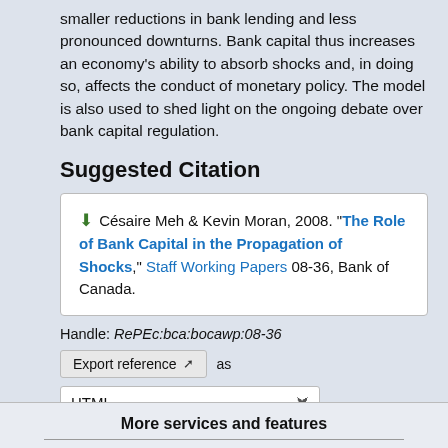smaller reductions in bank lending and less pronounced downturns. Bank capital thus increases an economy's ability to absorb shocks and, in doing so, affects the conduct of monetary policy. The model is also used to shed light on the ongoing debate over bank capital regulation.
Suggested Citation
Césaire Meh & Kevin Moran, 2008. "The Role of Bank Capital in the Propagation of Shocks," Staff Working Papers 08-36, Bank of Canada.
Handle: RePEc:bca:bocawp:08-36
Export reference as
HTML
More services and features